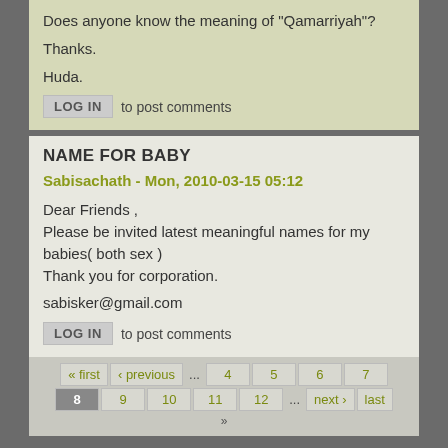Does anyone know the meaning of "Qamarriyah"?

Thanks.

Huda.
LOG IN  to post comments
NAME FOR BABY
Sabisachath - Mon, 2010-03-15 05:12
Dear Friends ,
Please be invited latest meaningful names for my babies( both sex )
Thank you for corporation.

sabisker@gmail.com
LOG IN  to post comments
« first  ‹ previous  ...  4  5  6  7  8  9  10  11  12  ...  next ›  last  »